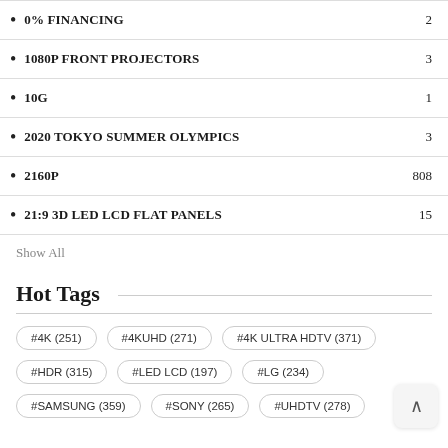0% FINANCING  2
1080P FRONT PROJECTORS  3
10G  1
2020 TOKYO SUMMER OLYMPICS  3
2160P  808
21:9 3D LED LCD FLAT PANELS  15
Show All
Hot Tags
#4K (251)  #4KUHD (271)  #4K ULTRA HDTV (371)
#HDR (315)  #LED LCD (197)  #LG (234)
#SAMSUNG (359)  #SONY (265)  #UHDTV (278)